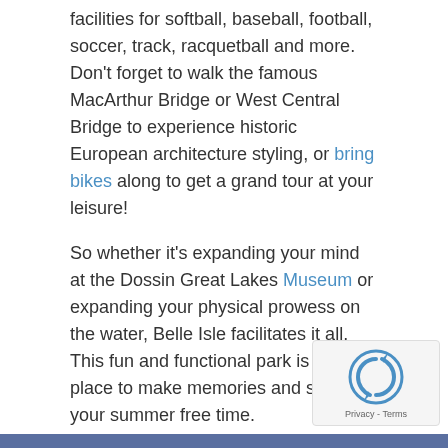facilities for softball, baseball, football, soccer, track, racquetball and more. Don't forget to walk the famous MacArthur Bridge or West Central Bridge to experience historic European architecture styling, or bring bikes along to get a grand tour at your leisure!
So whether it's expanding your mind at the Dossin Great Lakes Museum or expanding your physical prowess on the water, Belle Isle facilitates it all. This fun and functional park is a great place to make memories and spend your summer free time.
What are your favorite parts of Belle Isle?
Photo Credit: TinTin Yu
(Visited 405 times, 1 visits today)